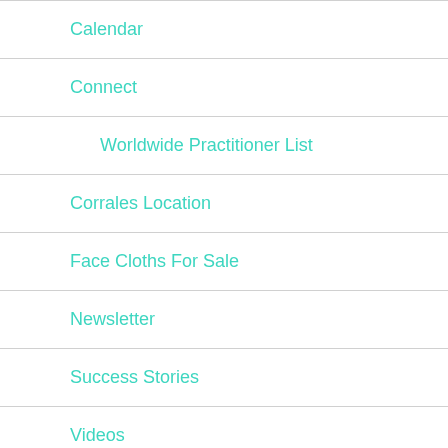Calendar
Connect
Worldwide Practitioner List
Corrales Location
Face Cloths For Sale
Newsletter
Success Stories
Videos